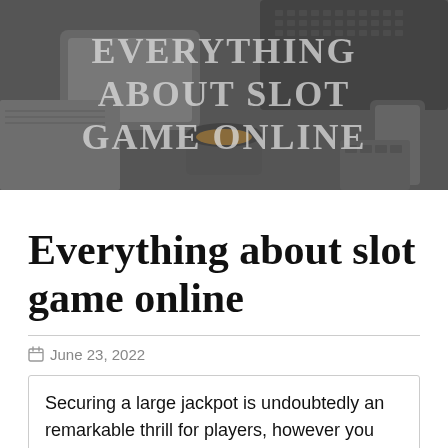[Figure (photo): Hero banner image: a grayscale overhead photo of a desk with a tablet, laptop keyboard, coffee cup, notebook, calculator and phone. Large uppercase text overlay reads 'EVERYTHING ABOUT SLOT GAME ONLINE'.]
Everything about slot game online
June 23, 2022
Securing a large jackpot is undoubtedly an remarkable thrill for players, however you don't wish